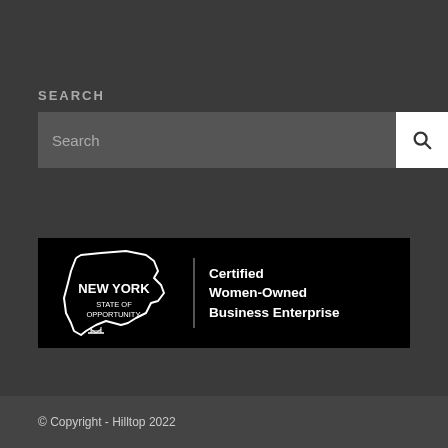SEARCH
[Figure (screenshot): Search input box with a white search button containing a magnifying glass icon]
[Figure (logo): New York State of Opportunity - Certified Women-Owned Business Enterprise badge on black background]
© Copyright - Hilltop 2022